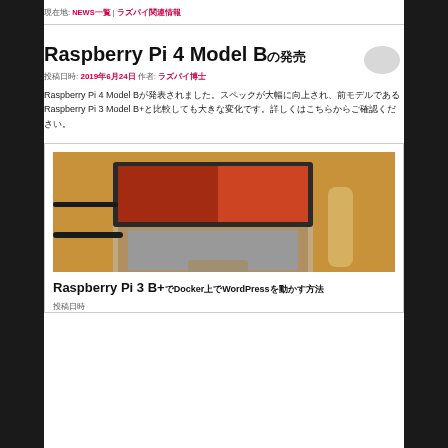現在地: NEWS一覧 | ラズパイ関連情報
Raspberry Pi 4 Model Bの発売
投稿日時: 2019年6月24日 作者: ラズパイ博士
Raspberry Pi 4 Model Bが発表されました。スペックが大幅に向上され、前モデルであるRaspberry Pi 3 Model B+と比較しても大きな変化です。詳しくはこちらからご確認ください。
[Figure (photo): Laptop on a wooden desk with cables and accessories]
Raspberry Pi 3 B+でDocker上でWordPressを動かす方法
投稿日時